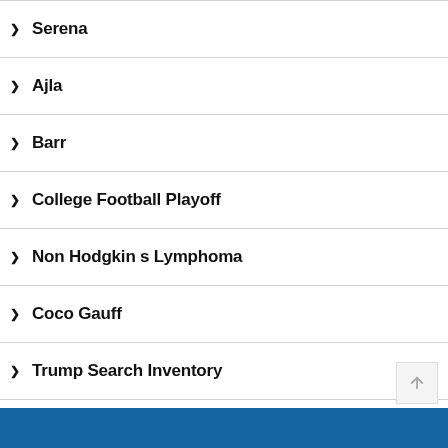Serena
Ajla
Barr
College Football Playoff
Non Hodgkin s Lymphoma
Coco Gauff
Trump Search Inventory
GOAT